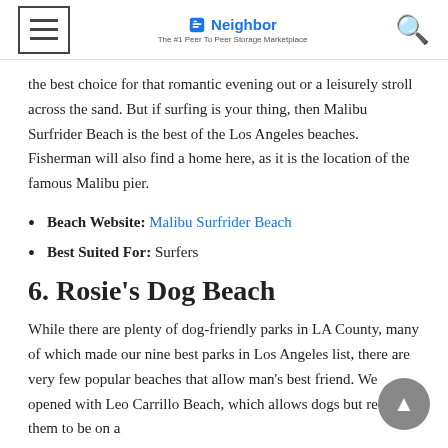Neighbor — The #1 Peer To Peer Storage Marketplace
the best choice for that romantic evening out or a leisurely stroll across the sand. But if surfing is your thing, then Malibu Surfrider Beach is the best of the Los Angeles beaches. Fisherman will also find a home here, as it is the location of the famous Malibu pier.
Beach Website: Malibu Surfrider Beach
Best Suited For: Surfers
6. Rosie's Dog Beach
While there are plenty of dog-friendly parks in LA County, many of which made our nine best parks in Los Angeles list, there are very few popular beaches that allow man's best friend. We opened with Leo Carrillo Beach, which allows dogs but requires them to be on a